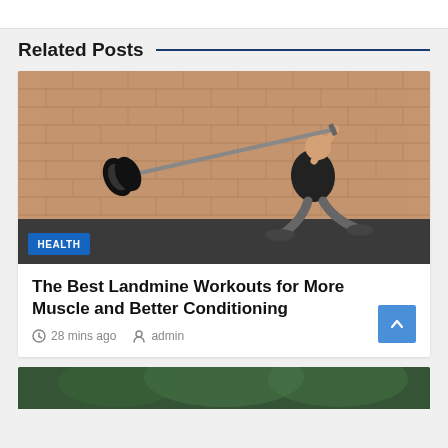Related Posts
[Figure (photo): Person performing a landmine press exercise in a lunge position outdoors against a brick wall, holding a barbell with weight plate at one end overhead. A blue badge reading HEALTH is overlaid at the bottom left.]
The Best Landmine Workouts for More Muscle and Better Conditioning
28 mins ago   admin
[Figure (photo): Partial view of another article image at the bottom, showing a person outdoors with green foliage.]